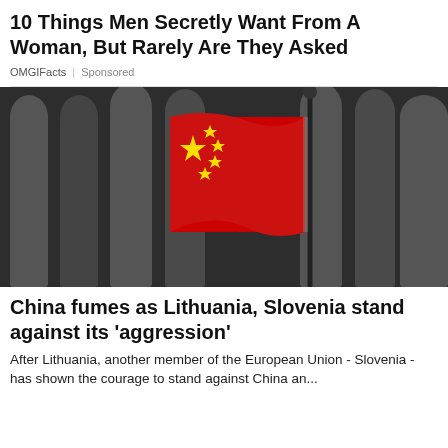10 Things Men Secretly Want From A Woman, But Rarely Are They Asked
OMGIFacts | Sponsored
[Figure (photo): Chinese flag (red with yellow stars) waving in front of a dark grey stone building with arched columns]
China fumes as Lithuania, Slovenia stand against its 'aggression'
After Lithuania, another member of the European Union - Slovenia - has shown the courage to stand against China an...